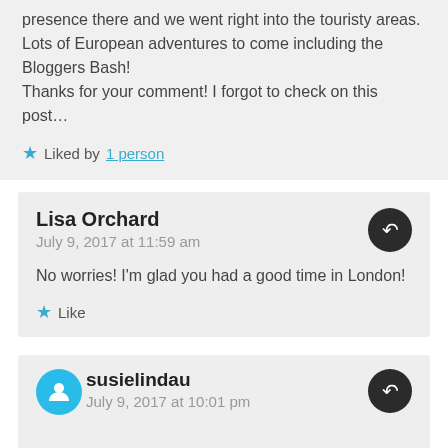presence there and we went right into the touristy areas. Lots of European adventures to come including the Bloggers Bash! Thanks for your comment! I forgot to check on this post…
★ Liked by 1 person
Lisa Orchard
July 9, 2017 at 11:59 am
No worries! I'm glad you had a good time in London!
★ Like
susielindau
July 9, 2017 at 10:01 pm